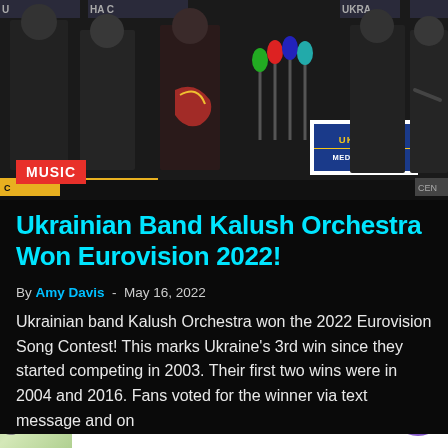[Figure (photo): Kalush Orchestra band members standing on stage at a press conference in front of microphones and Ukraine Media Center signage]
Ukrainian Band Kalush Orchestra Won Eurovision 2022!
By Amy Davis - May 16, 2022
Ukrainian band Kalush Orchestra won the 2022 Eurovision Song Contest! This marks Ukraine's 3rd win since they started competing in 2003. Their first two wins were in 2004 and 2016. Fans voted for the winner via text message and on
[Figure (other): Advertisement banner for Cheryl's Cookie Delivery showing a cookie/food image on the left, text in the middle, and a purple arrow button on the right]